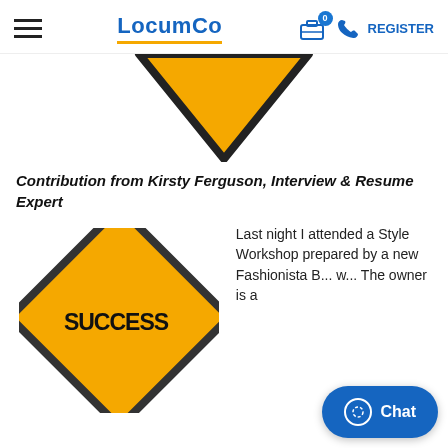LocumCo — REGISTER
[Figure (illustration): A yellow downward-pointing triangular warning sign with black border, cropped at top]
Contribution from Kirsty Ferguson, Interview & Resume Expert
[Figure (illustration): A yellow diamond-shaped road sign with black border and the word SUCCESS in bold black letters]
Last night I attended a Style Workshop prepared by a new Fashionista B... w... The owner is a...